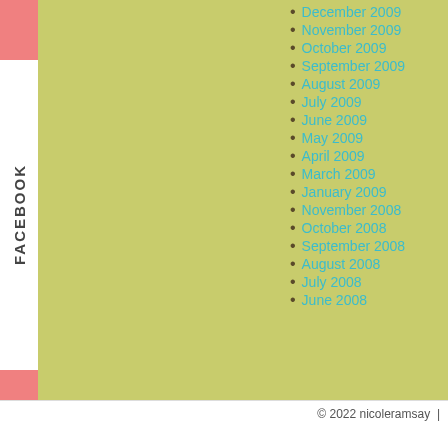FACEBOOK
December 2009
November 2009
October 2009
September 2009
August 2009
July 2009
June 2009
May 2009
April 2009
March 2009
January 2009
November 2008
October 2008
September 2008
August 2008
July 2008
June 2008
© 2022 nicoleramsay  |